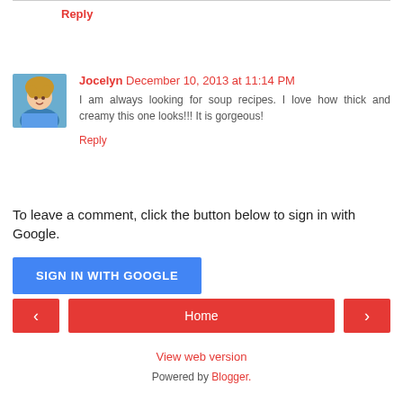Reply
Jocelyn December 10, 2013 at 11:14 PM
I am always looking for soup recipes. I love how thick and creamy this one looks!!! It is gorgeous!
Reply
To leave a comment, click the button below to sign in with Google.
SIGN IN WITH GOOGLE
‹
Home
›
View web version
Powered by Blogger.